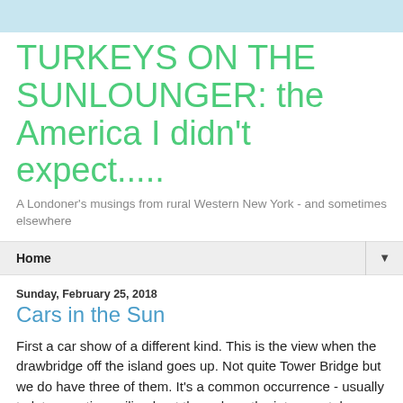TURKEYS ON THE SUNLOUNGER: the America I didn't expect.....
A Londoner's musings from rural Western New York - and sometimes elsewhere
Home
Sunday, February 25, 2018
Cars in the Sun
First a car show of a different kind. This is the view when the drawbridge off the island goes up. Not quite Tower Bridge but we do have three of them. It's a common occurrence - usually to let some tiny sailing boat through on the intracoastal waterway - but the cause of much aggravation. It